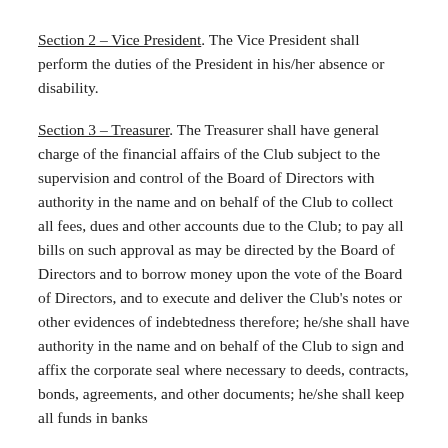Section 2 – Vice President. The Vice President shall perform the duties of the President in his/her absence or disability.
Section 3 – Treasurer. The Treasurer shall have general charge of the financial affairs of the Club subject to the supervision and control of the Board of Directors with authority in the name and on behalf of the Club to collect all fees, dues and other accounts due to the Club; to pay all bills on such approval as may be directed by the Board of Directors and to borrow money upon the vote of the Board of Directors, and to execute and deliver the Club's notes or other evidences of indebtedness therefore; he/she shall have authority in the name and on behalf of the Club to sign and affix the corporate seal where necessary to deeds, contracts, bonds, agreements, and other documents; he/she shall keep all funds in banks